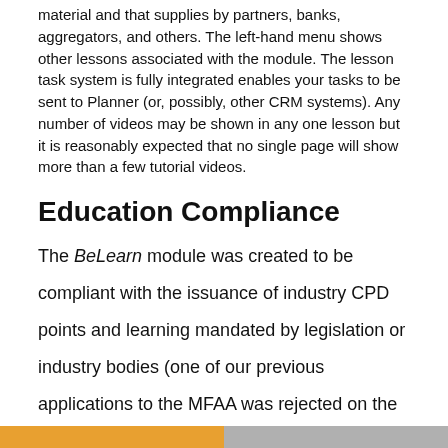material and that supplies by partners, banks, aggregators, and others. The left-hand menu shows other lessons associated with the module. The lesson task system is fully integrated enables your tasks to be sent to Planner (or, possibly, other CRM systems). Any number of videos may be shown in any one lesson but it is reasonably expected that no single page will show more than a few tutorial videos.
Education Compliance
The BeLearn module was created to be compliant with the issuance of industry CPD points and learning mandated by legislation or industry bodies (one of our previous applications to the MFAA was rejected on the basis we requested around 50 points; we asked for around 10 points for all...